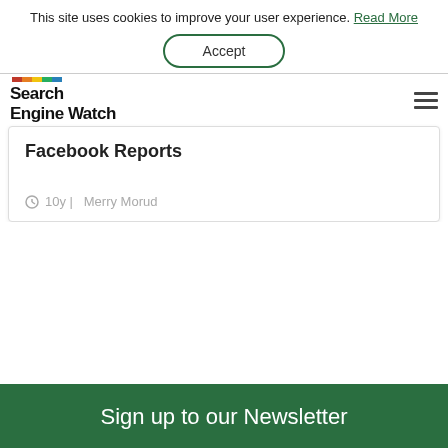This site uses cookies to improve your user experience. Read More
Accept
Search Engine Watch
Facebook Reports
10y | Merry Morud
Sign up to our Newsletter